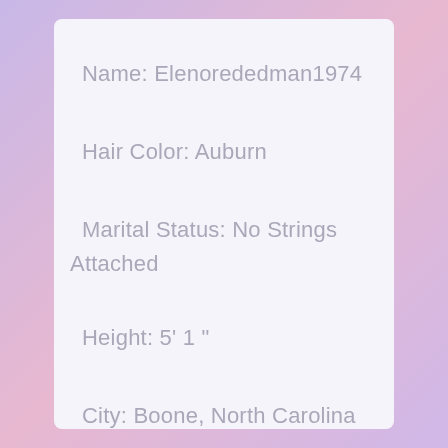Name: Elenorededman1974
Hair Color: Auburn
Marital Status: No Strings Attached
Height: 5' 1"
City: Boone, North Carolina